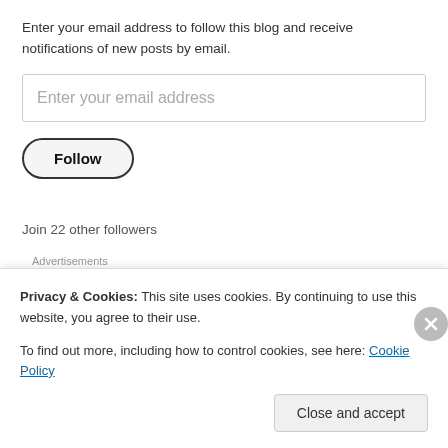Enter your email address to follow this blog and receive notifications of new posts by email.
Enter your email address
Follow
Join 22 other followers
Advertisements
[Figure (photo): Advertisement banner showing Merck branded content with overlapping colorful panels and logos.]
Privacy & Cookies: This site uses cookies. By continuing to use this website, you agree to their use.
To find out more, including how to control cookies, see here: Cookie Policy
Close and accept